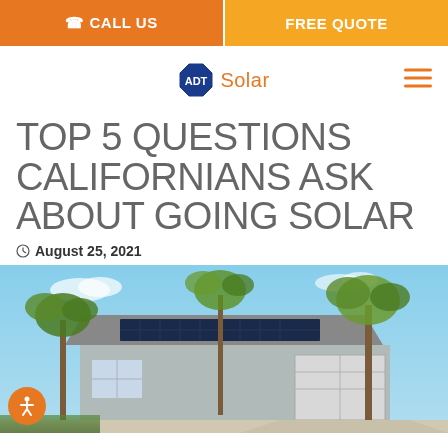CALL US | FREE QUOTE
[Figure (logo): ADT Solar logo with octagon ADT badge and orange Solar text, with hamburger menu icon on the right]
TOP 5 QUESTIONS CALIFORNIANS ASK ABOUT GOING SOLAR
August 25, 2021
[Figure (photo): A suburban California house with solar panels on the roof, framed by tall palm trees under a blue sky]